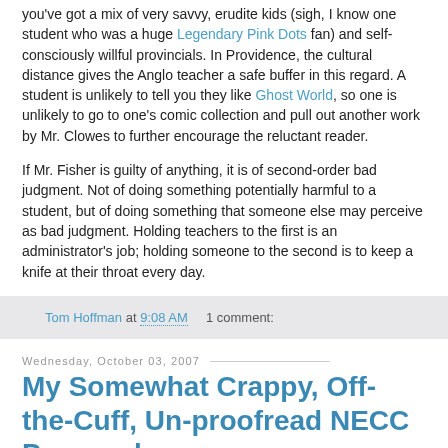you've got a mix of very savvy, erudite kids (sigh, I know one student who was a huge Legendary Pink Dots fan) and self-consciously willful provincials. In Providence, the cultural distance gives the Anglo teacher a safe buffer in this regard. A student is unlikely to tell you they like Ghost World, so one is unlikely to go to one's comic collection and pull out another work by Mr. Clowes to further encourage the reluctant reader.
If Mr. Fisher is guilty of anything, it is of second-order bad judgment. Not of doing something potentially harmful to a student, but of doing something that someone else may perceive as bad judgment. Holding teachers to the first is an administrator's job; holding someone to the second is to keep a knife at their throat every day.
Tom Hoffman at 9:08 AM   1 comment:
Wednesday, October 03, 2007
My Somewhat Crappy, Off-the-Cuff, Un-proofread NECC Proposal